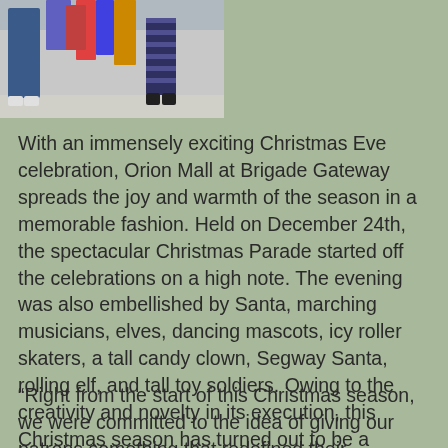[Figure (photo): A group of people standing together, visible from approximately the waist down, wearing colorful clothing including jeans and various shoes, standing on a light-colored floor.]
With an immensely exciting Christmas Eve celebration, Orion Mall at Brigade Gateway spreads the joy and warmth of the season in a memorable fashion. Held on December 24th, the spectacular Christmas Parade started off the celebrations on a high note. The evening was also embellished by Santa, marching musicians, elves, dancing mascots, icy roller skaters, a tall candy clown, Segway Santa, rolling elf, and tall toy soldiers. Owing to the creativity and novelty in its execution, this Christmas season has turned out to be a memorable one for the mall's patrons. The Christmas Eve celebrations marked another exciting chapter in what is turning out to be Orion Mall's most thrilling Christmas season yet.
“Right from the start of this Christmas season, we were committed to the idea of giving our patrons something that redefined their expectations of a Christmas celebration. By applying ourselves in figuring out new ways to reinterpret the